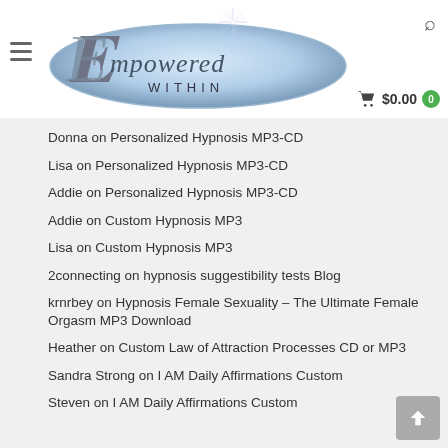[Figure (logo): Empowered Within logo — silver oval with stylized script lettering and star burst]
Donna on Personalized Hypnosis MP3-CD
Lisa on Personalized Hypnosis MP3-CD
Addie on Personalized Hypnosis MP3-CD
Addie on Custom Hypnosis MP3
Lisa on Custom Hypnosis MP3
2connecting on hypnosis suggestibility tests Blog
krnrbey on Hypnosis Female Sexuality – The Ultimate Female Orgasm MP3 Download
Heather on Custom Law of Attraction Processes CD or MP3
Sandra Strong on I AM Daily Affirmations Custom
Steven on I AM Daily Affirmations Custom